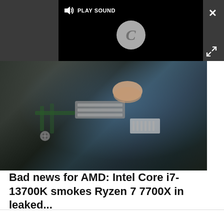[Figure (screenshot): Video player UI with dark background, showing a loading spinner (letter C in a circle) and a 'PLAY SOUND' button with speaker icon at top left of the video frame. A close (X) button is at top right and an expand/fullscreen button at bottom right of the dark bar.]
[Figure (photo): Close-up photo of a computer motherboard or laptop internal hardware, showing a finger pressing or inserting a component, with visible circuit board traces, screws, connectors, and metal components.]
Bad news for AMD: Intel Core i7-13700K smokes Ryzen 7 7700X in leaked...
It looks like a significant generational improvement for Ryzen, but it's still trailing behind Intel's CPUs
TechRadar